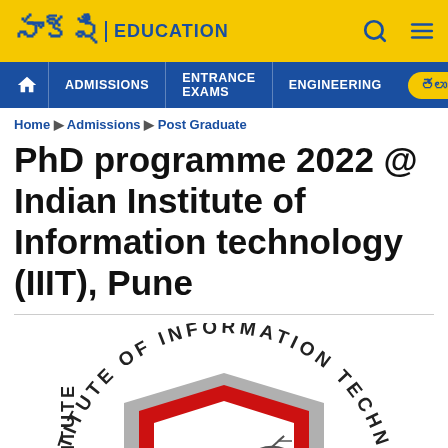సాక్షి EDUCATION
ADMISSIONS | ENTRANCE EXAMS | ENGINEERING | తెలుగు
Home ▶ Admissions ▶ Post Graduate
PhD programme 2022 @ Indian Institute of Information technology (IIIT), Pune
[Figure (logo): Institute of Information Technology shield logo with book and satellite dish symbols, circular text reading INSTITUTE OF INFORMATION TECHNOLOGY around the top]